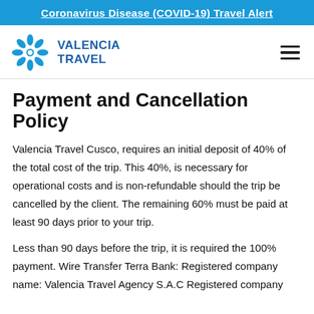Coronavirus Disease (COVID-19) Travel Alert
[Figure (logo): Valencia Travel logo: blue snowflake/sun icon with text VALENCIA TRAVEL in bold blue uppercase letters]
Payment and Cancellation Policy
Valencia Travel Cusco, requires an initial deposit of 40% of the total cost of the trip. This 40%, is necessary for operational costs and is non-refundable should the trip be cancelled by the client. The remaining 60% must be paid at least 90 days prior to your trip.
Less than 90 days before the trip, it is required the 100% payment. Wire Transfer Terra Bank: Registered company name: Valencia Travel Agency S.A.C Registered company address: Recoleta Street 92 Ste. B, Cusco, 08003